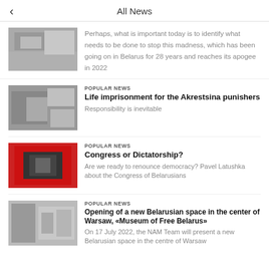All News
Perhaps, what is important today is to identify what needs to be done to stop this madness, which has been going on in Belarus for 28 years and reaches its apogee in 2022
POPULAR NEWS
Life imprisonment for the Akrestsina punishers
Responsibility is inevitable
POPULAR NEWS
Congress or Dictatorship?
Are we ready to renounce democracy? Pavel Latushka about the Congress of Belarusians
POPULAR NEWS
Opening of a new Belarusian space in the center of Warsaw, «Museum of Free Belarus»
On 17 July 2022, the NAM Team will present a new Belarusian space in the centre of Warsaw